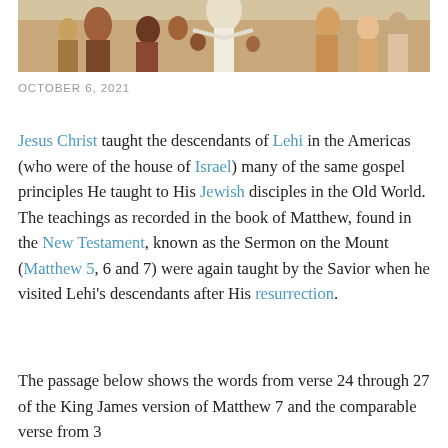[Figure (illustration): Illustration showing Jesus Christ surrounded by people/children in a colorful scene]
OCTOBER 6, 2021
Jesus Christ taught the descendants of Lehi in the Americas (who were of the house of Israel) many of the same gospel principles He taught to His Jewish disciples in the Old World. The teachings as recorded in the book of Matthew, found in the New Testament, known as the Sermon on the Mount (Matthew 5, 6 and 7) were again taught by the Savior when he visited Lehi's descendants after His resurrection.
The passage below shows the words from verse 24 through 27 of the King James version of Matthew 7 and the comparable verse from 3